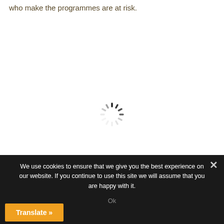who make the programmes are at risk.
[Figure (other): Loading spinner (circular dashed animation indicator) centered in the white content area]
We use cookies to ensure that we give you the best experience on our website. If you continue to use this site we will assume that you are happy with it.
Ok
Translate »